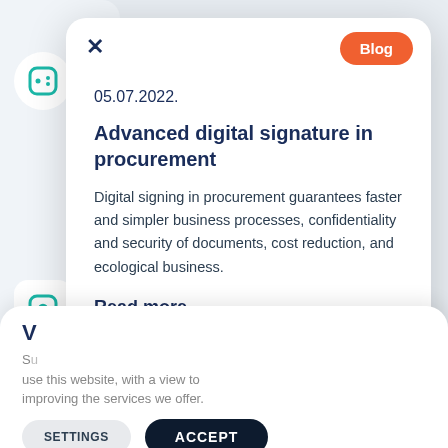[Figure (screenshot): UI modal card showing blog post preview with close button (×), date, Blog badge, title, body text, and Read more link, overlaying a website background with icons and partial text. Below is a cookie consent bar with Settings and Accept buttons.]
05.07.2022.
Advanced digital signature in procurement
Digital signing in procurement guarantees faster and simpler business processes, confidentiality and security of documents, cost reduction, and ecological business.
Read more
Su use this website, with a view to improving the services we offer.
SETTINGS
ACCEPT